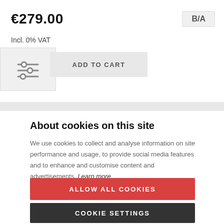€279.00
B/A
Incl. 0% VAT
[Figure (other): Filter/settings icon with horizontal sliders]
ADD TO CART
About cookies on this site
We use cookies to collect and analyse information on site performance and usage, to provide social media features and to enhance and customise content and advertisements. Learn more
ALLOW ALL COOKIES
COOKIE SETTINGS